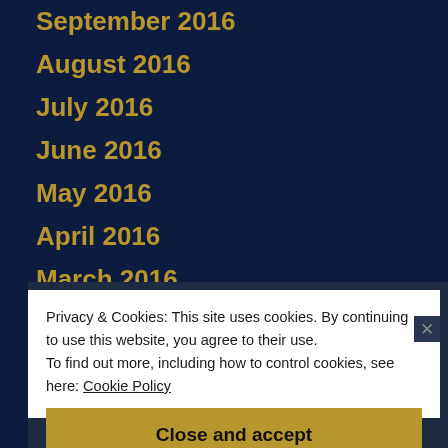September 2016
August 2016
July 2016
June 2016
May 2016
April 2016
March 2016
February 2016
January 2016
December 2015
November 2015
Privacy & Cookies: This site uses cookies. By continuing to use this website, you agree to their use.
To find out more, including how to control cookies, see here: Cookie Policy
Close and accept